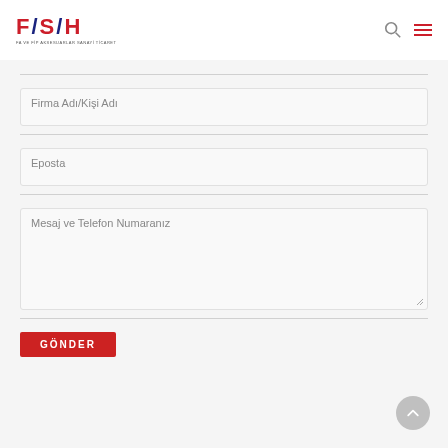[Figure (logo): FSH logo with red and blue letters F/S/H and small subtitle text]
Firma Adı/Kişi Adı
Eposta
Mesaj ve Telefon Numaranız
GÖNDER